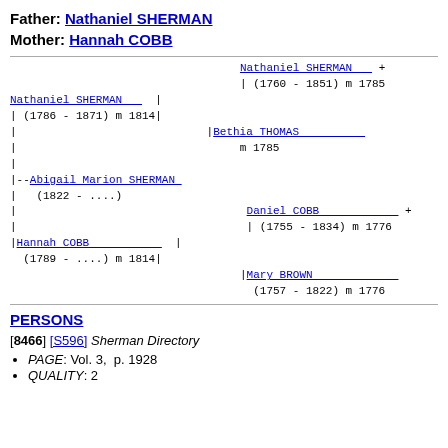Father: Nathaniel SHERMAN
Mother: Hannah COBB
[Figure (other): Genealogical family tree diagram showing ancestors of Abigail Marion SHERMAN (1822 - ....). Father: Nathaniel SHERMAN (1786-1871) m 1814, with parents Nathaniel SHERMAN (1760-1851) m 1785 and Bethia THOMAS m 1785. Mother: Hannah COBB (1789-....) m 1814, with parents Daniel COBB (1755-1834) m 1776 and Mary BROWN (1757-1822) m 1776.]
PERSONS
[8466] [S596] Sherman Directory
PAGE: Vol. 3,  p. 1928
QUALITY: 2